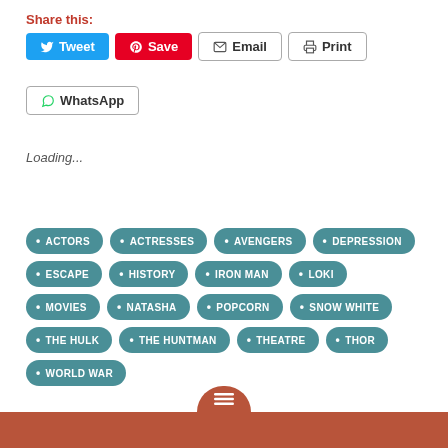Share this:
Tweet  Save  Email  Print  WhatsApp
Loading...
ACTORS
ACTRESSES
AVENGERS
DEPRESSION
ESCAPE
HISTORY
IRON MAN
LOKI
MOVIES
NATASHA
POPCORN
SNOW WHITE
THE HULK
THE HUNTMAN
THEATRE
THOR
WORLD WAR